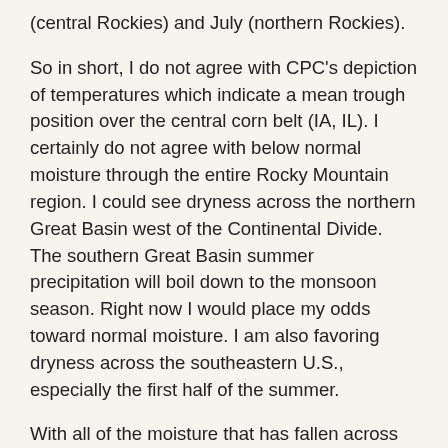(central Rockies) and July (northern Rockies).
So in short, I do not agree with CPC's depiction of temperatures which indicate a mean trough position over the central corn belt (IA, IL).  I certainly do not agree with below normal moisture through the entire Rocky Mountain region.  I could see dryness across the northern Great Basin west of the Continental Divide.  The southern Great Basin summer precipitation will boil down to the monsoon season.  Right now I would place my odds toward normal moisture.  I am also favoring dryness across the southeastern U.S., especially the first half of the summer.
With all of the moisture that has fallen across the southern Plains recently, it will be transpired into the atmosphere, so relative humidity levels will be high through the entirety of the High Plains the first half of the summer. The only thing needed is a trigger to initiate thunderstorm activity. That should be available if the current long wave pattern favoring western United States storm activity continues. Additionally, since the clouds are a great producer of moisture, and